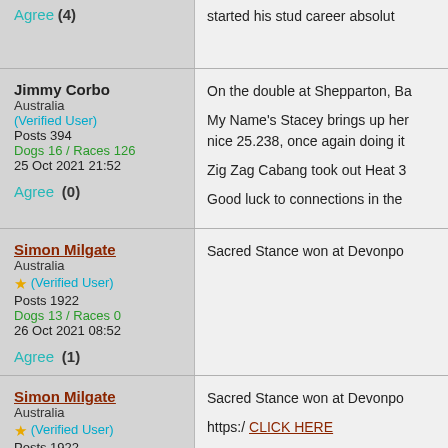Agree (4) | started his stud career absolute...
Jimmy Corbo
Australia
(Verified User)
Posts 394
Dogs 16 / Races 126
25 Oct 2021 21:52
Agree (0)
On the double at Shepparton, Ba...
My Name's Stacey brings up her... nice 25.238, once again doing it...
Zig Zag Cabang took out Heat 3...
Good luck to connections in the...
Simon Milgate
Australia
★ (Verified User)
Posts 1922
Dogs 13 / Races 0
26 Oct 2021 08:52
Agree (1)
Sacred Stance won at Devonpo...
Simon Milgate
Australia
★ (Verified User)
Posts 1922
Dogs 13 / Races 0
26 Oct 2021 08:53
Sacred Stance won at Devonpo...
https:/ CLICK HERE